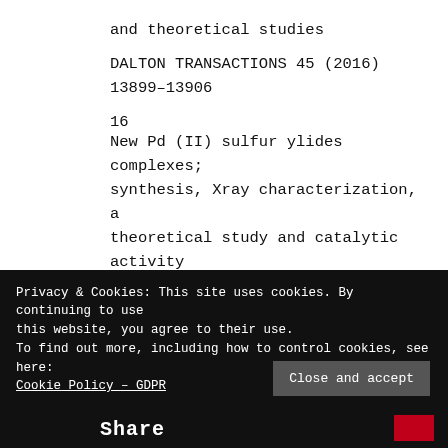and theoretical studies
DALTON TRANSACTIONS 45 (2016) 13899–13906
16
New Pd (II) sulfur ylides complexes; synthesis, Xray characterization, a theoretical study and catalytic activity towards the Mizoroki – Heck reaction † RSC Advances 6 (2016) 28308–28315
Privacy & Cookies: This site uses cookies. By continuing to use this website, you agree to their use.
To find out more, including how to control cookies, see here: Cookie Policy – GDPR
Close and accept
Share